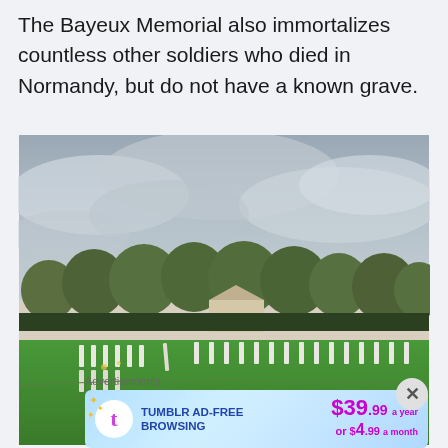The Bayeux Memorial also immortalizes countless other soldiers who died in Normandy, but do not have a known grave.
[Figure (photo): Panoramic photograph of a military cemetery in Normandy, showing rows of white grave markers on green grass, surrounded by trees and a stone building under an overcast grey sky.]
Advertisements
[Figure (infographic): Tumblr advertisement banner promoting ad-free browsing for $39.99 a year or $4.99 a month, with Tumblr logo and sparkle decorations on a blue gradient background.]